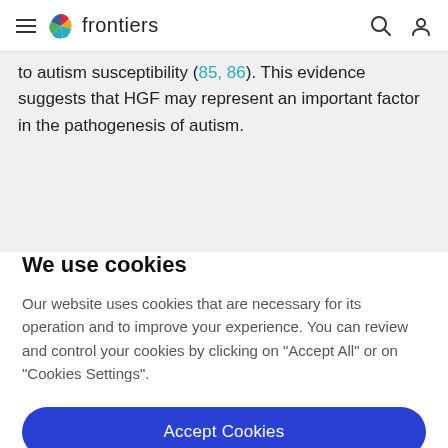frontiers
to autism susceptibility (85, 86). This evidence suggests that HGF may represent an important factor in the pathogenesis of autism.
We use cookies
Our website uses cookies that are necessary for its operation and to improve your experience. You can review and control your cookies by clicking on "Accept All" or on "Cookies Settings".
Accept Cookies
Cookies Settings